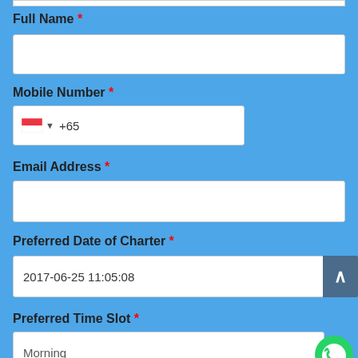Full Name *
Mobile Number *
+65
Email Address *
Preferred Date of Charter *
2017-06-25 11:05:08
Preferred Time Slot *
Morning
Number of Guests *